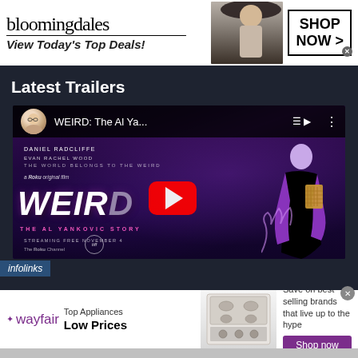[Figure (screenshot): Bloomingdales advertisement banner: logo text 'bloomingdales', tagline 'View Today's Top Deals!', woman in hat, 'SHOP NOW >' button]
infolinks
Latest Trailers
[Figure (screenshot): YouTube embedded video thumbnail for WEIRD: The Al Ya... (WEIRD: The Al Yankovic Story) - Roku original film with Daniel Radcliffe, Evan Rachel Wood. Shows play button, movie poster with purple concert lighting, performer with accordion on stage.]
infolinks
[Figure (screenshot): Wayfair advertisement: 'Top Appliances Low Prices' with Wayfair logo, appliance image, 'Save on best selling brands that live up to the hype', purple 'Shop now' button]